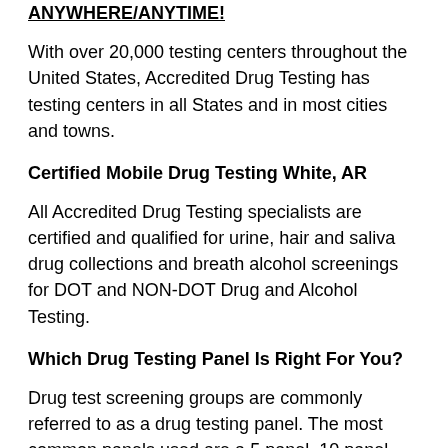ANYWHERE/ANYTIME!
With over 20,000 testing centers throughout the United States, Accredited Drug Testing has testing centers in all States and in most cities and towns.
Certified Mobile Drug Testing White, AR
All Accredited Drug Testing specialists are certified and qualified for urine, hair and saliva drug collections and breath alcohol screenings for DOT and NON-DOT Drug and Alcohol Testing.
Which Drug Testing Panel Is Right For You?
Drug test screening groups are commonly referred to as a drug testing panel. The most common panels used are a 5 panel, 10 panel and 12 panel drug tests, (panels specify how many drugs will be screened) however customized screening can be analyzed for drugs such as opiates, both